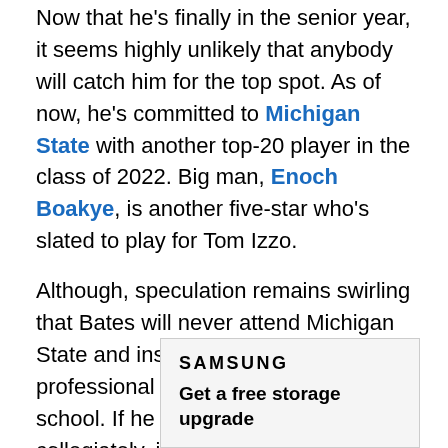Now that he's finally in the senior year, it seems highly unlikely that anybody will catch him for the top spot. As of now, he's committed to Michigan State with another top-20 player in the class of 2022. Big man, Enoch Boakye, is another five-star who's slated to play for Tom Izzo.
Although, speculation remains swirling that Bates will never attend Michigan State and instead opt for the professional route directly out of high school. If he did choose to play collegiately, it could make for some great entertainment, because the Spartans are scheduled to play Kentucky in the 2021 Champions Classic.
[Figure (other): Samsung advertisement with logo and text 'Get a free storage upgrade']